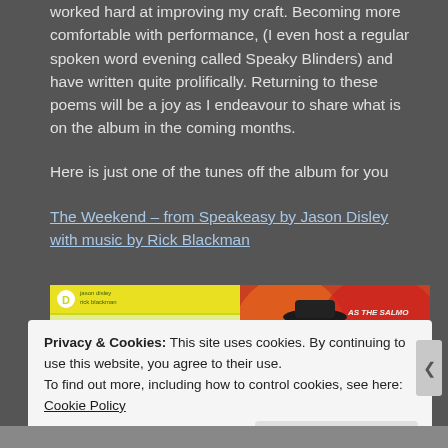worked hard at improving my craft. Becoming more comfortable with performance, (I even host a regular spoken word evening called Speaky Blinders) and have written quite prolifically. Returning to these poems will be a joy as I endeavour to share what is on the album in the coming months.
Here is just one of the tunes off the album for you
The Weekend – from Speakeasy by Jason Disley with music by Rick Blackman
[Figure (photo): Two images side by side: left shows a yellow-green album cover with 'SPE' text and a checkered hat; right shows a colorful artistic portrait with text 'AS THE SALMON FIGHTS AGAINST THE FLOW, SO DOES THE REBEL'S LIFE AVOIDING...']
Privacy & Cookies: This site uses cookies. By continuing to use this website, you agree to their use. To find out more, including how to control cookies, see here: Cookie Policy
Close and accept